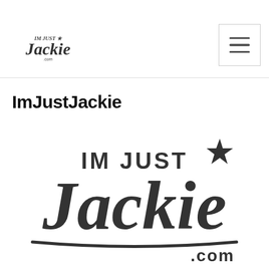[Figure (logo): ImJustJackie.com small logo in script font, top left of header]
[Figure (screenshot): Hamburger menu button (three horizontal lines) in a square, top right]
ImJustJackie
[Figure (logo): Large ImJustJackie.com logo in decorative script font with star accent and .com text]